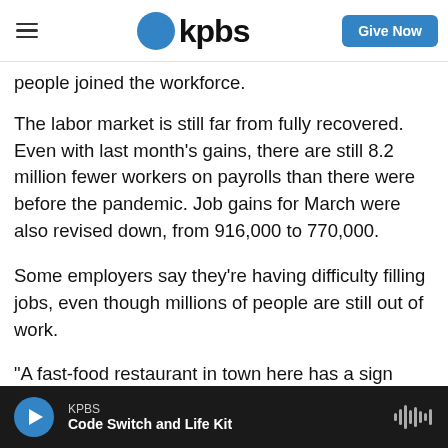KPBS | Give Now
people joined the workforce.
The labor market is still far from fully recovered. Even with last month's gains, there are still 8.2 million fewer workers on payrolls than there were before the pandemic. Job gains for March were also revised down, from 916,000 to 770,000.
Some employers say they're having difficulty filling jobs, even though millions of people are still out of work.
"A fast-food restaurant in town here has a sign looking for people to staff the drive-through and
KPBS | Code Switch and Life Kit